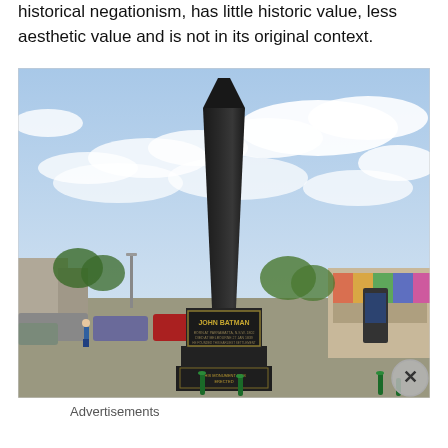historical negationism, has little historic value, less aesthetic value and is not in its original context.
[Figure (photo): Outdoor photograph of the John Batman obelisk monument — a tall dark stone obelisk on a stepped base with an inscription plaque reading 'JOHN BATMAN'. The monument stands in a car park area with vehicles, trees, buildings with murals, street lights, and a partly cloudy sky in the background. A smaller plaque at the base reads 'THIS MONUMENT WAS ERECTED'.]
Advertisements